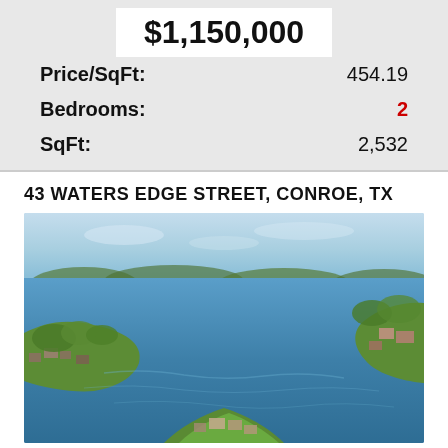$1,150,000
Price/SqFt: 454.19
Bedrooms: 2
SqFt: 2,532
43 WATERS EDGE STREET, CONROE, TX
[Figure (photo): Aerial drone photograph of a lakeside community in Conroe, TX showing Lake Conroe with a peninsula of homes surrounded by water, green trees, and residential neighborhoods on both sides of the waterway.]